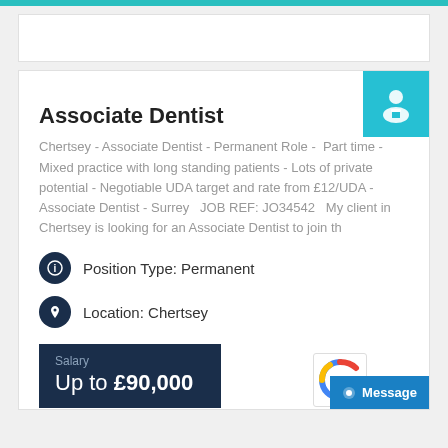[Figure (other): Teal top bar stripe]
[Figure (other): White card placeholder at top]
Associate Dentist
Chertsey - Associate Dentist - Permanent Role - Part time - Mixed practice with long standing patients - Lots of private potential - Negotiable UDA target and rate from £12/UDA - Associate Dentist - Surrey  JOB REF: JO34542  My client in Chertsey is looking for an Associate Dentist to join th
Position Type: Permanent
Location: Chertsey
Salary
Up to £90,000